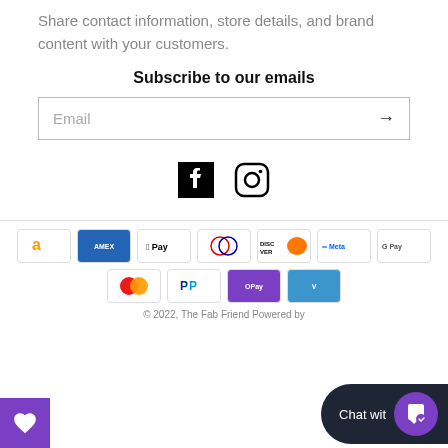Share contact information, store details, and brand content with your customers.
Subscribe to our emails
Email
[Figure (other): Facebook and Instagram social media icons]
[Figure (other): Payment method icons: Amazon, Amex, Apple Pay, Diners, Discover, Meta Pay, Google Pay, Mastercard, PayPal, OPay, Venmo]
© 2022, The Fab Friend Powered by ...